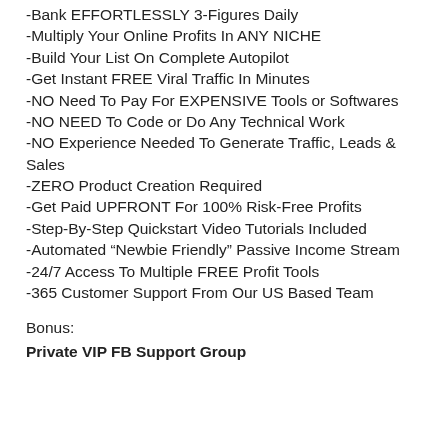-Bank EFFORTLESSLY 3-Figures Daily
-Multiply Your Online Profits In ANY NICHE
-Build Your List On Complete Autopilot
-Get Instant FREE Viral Traffic In Minutes
-NO Need To Pay For EXPENSIVE Tools or Softwares
-NO NEED To Code or Do Any Technical Work
-NO Experience Needed To Generate Traffic, Leads & Sales
-ZERO Product Creation Required
-Get Paid UPFRONT For 100% Risk-Free Profits
-Step-By-Step Quickstart Video Tutorials Included
-Automated "Newbie Friendly" Passive Income Stream
-24/7 Access To Multiple FREE Profit Tools
-365 Customer Support From Our US Based Team
Bonus:
Private VIP FB Support Group